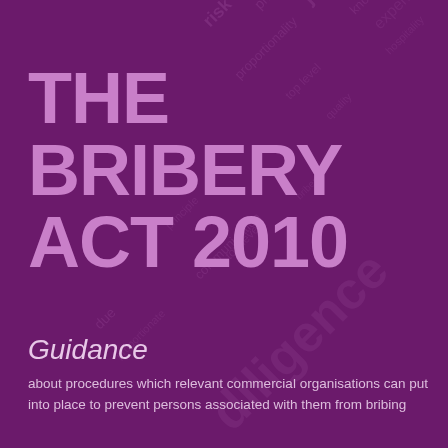[Figure (illustration): Word cloud on dark purple background with various compliance-related terms including 'risk', 'principle', 'jurisdiction', 'due diligence', 'top level', 'proportionality', 'expenditure', 'communication', arranged in a diagonal pattern]
THE BRIBERY ACT 2010
Guidance
about procedures which relevant commercial organisations can put into place to prevent persons associated with them from bribing